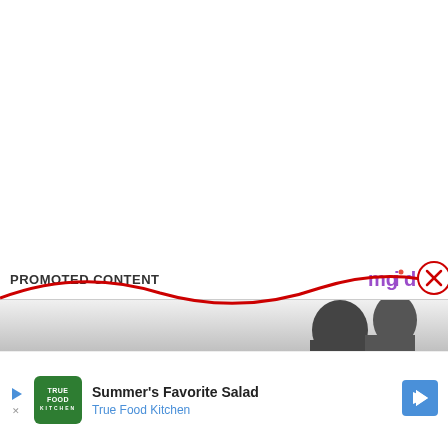PROMOTED CONTENT
[Figure (photo): Partial photo of people in background, black and white tones, cropped at bottom of page]
[Figure (logo): mgid logo with purple text and play button icon, and red X close button]
[Figure (infographic): Red wave decorative graphic overlaid on photo]
[Figure (logo): True Food Kitchen green logo square]
Summer's Favorite Salad
True Food Kitchen